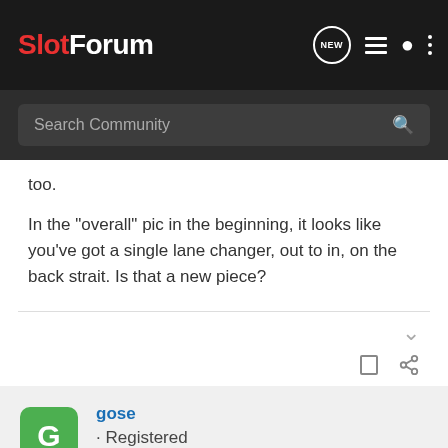SlotForum
too.
In the "overall" pic in the beginning, it looks like you've got a single lane changer, out to in, on the back strait. Is that a new piece?
gose · Registered
Joined Mar 8, 2004 · 218 Posts